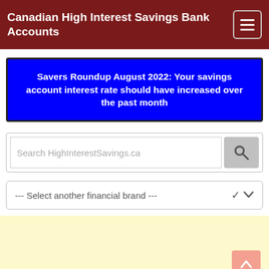Canadian High Interest Savings Bank Accounts
Savers Roundup August 2022: Your savings account interest rate should have increased over the past month
[Figure (screenshot): Search input box with placeholder text 'Search HighInterestSavings.ca' and a grey search button with magnifying glass icon]
[Figure (screenshot): Dropdown selector with text '--- Select another financial brand ---' and a chevron down arrow]
[Figure (other): Light yellow advertisement area placeholder with a salmon/pink 'back to top' button in the bottom right corner]